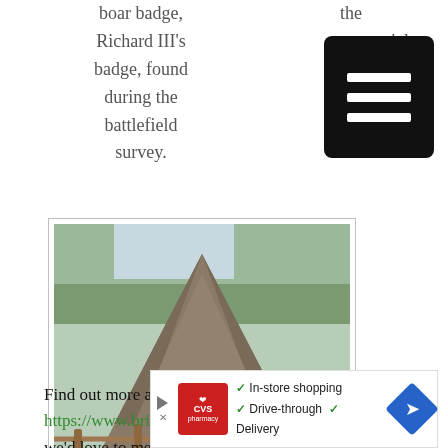boar badge, Richard III's badge, found during the battlefield survey.
the memorial
memorial
[Figure (photo): A stone pyramid-shaped memorial structure with an opening/arch, surrounded by wooden fence rails and green vegetation in background]
Find out more about next year's tours at https://www.britishhistorytours.com/history-tours – we'd love to meet you!
[Figure (other): CVS Pharmacy advertisement banner showing in-store shopping, drive-through, and delivery options with map direction icon]